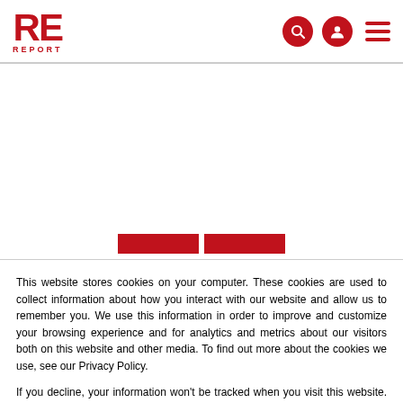[Figure (logo): RE REPORT logo in red with search, user, and hamburger menu icons]
This website stores cookies on your computer. These cookies are used to collect information about how you interact with our website and allow us to remember you. We use this information in order to improve and customize your browsing experience and for analytics and metrics about our visitors both on this website and other media. To find out more about the cookies we use, see our Privacy Policy.
If you decline, your information won't be tracked when you visit this website. A single cookie will be used in your browser to remember your preference not to be tracked.
Accept  Decline